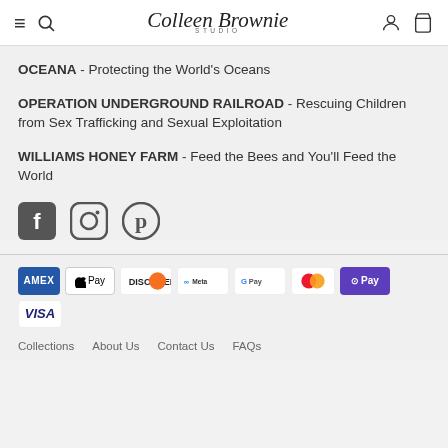Colleen Brownie Studio
OCEANA - Protecting the World's Oceans
OPERATION UNDERGROUND RAILROAD - Rescuing Children from Sex Trafficking and Sexual Exploitation
WILLIAMS HONEY FARM - Feed the Bees and You'll Feed the World
[Figure (infographic): Social media icons: Facebook, Instagram, Pinterest]
Payment methods: AMEX, Apple Pay, Discover, Meta Pay, Google Pay, Mastercard, Shop Pay, Visa. Links: Collections, About Us, Contact Us, FAQs